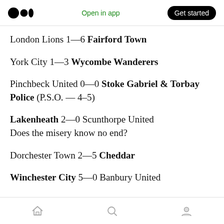Medium logo | Open in app | Get started
London Lions 1—6 Fairford Town
York City 1—3 Wycombe Wanderers
Pinchbeck United 0—0 Stoke Gabriel & Torbay Police (P.S.O. — 4–5)
Lakenheath 2—0 Scunthorpe United
Does the misery know no end?
Dorchester Town 2—5 Cheddar
Winchester City 5—0 Banbury United
Home | Search | Profile